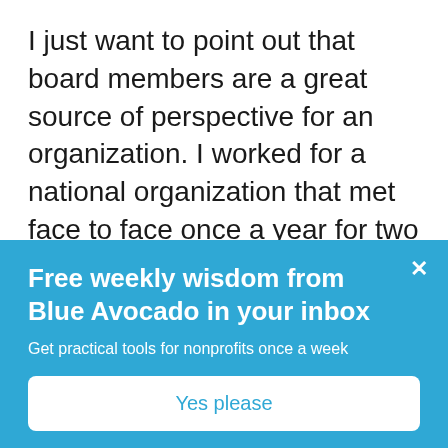I just want to point out that board members are a great source of perspective for an organization. I worked for a national organization that met face to face once a year for two or three very intense days. In addition to all you mentioned, we also made a point of beginning meetings with personal updates so board members could transition to the meeting and be fully present, and also so others could be sensitive to a member who carried a significant weight. This was implemented after successive meetings where someone would reveal at the end
Free weekly wisdom from Blue Avocado in your inbox
Get practical tools for nonprofits once a week
Yes please